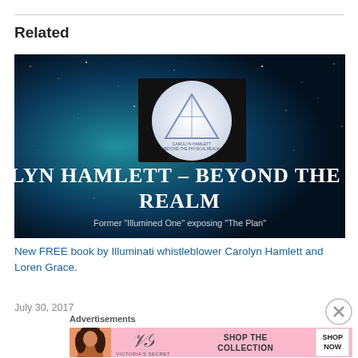Related
[Figure (photo): Thumbnail image for article about Carolyn Hamlett Beyond The Physical Realm book. Dark blue starry space background with a white circle containing a pyramid logo, text reading 'LYN HAMLETT – BEYOND THE PHY REALM' and subtitle 'Former "Illumined One" exposing "The Plan"']
New FREE book by Illuminati whistleblower Carolyn Hamlett and Loren Grace.
July 30, 2017
Advertisements
[Figure (photo): Victoria's Secret advertisement banner with pink background, woman photo, VS logo, text 'SHOP THE COLLECTION' and 'SHOP NOW' button]